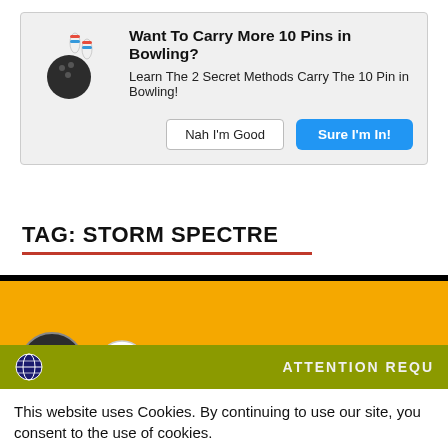[Figure (screenshot): Popup ad with bowling ball and pins icon, title 'Want To Carry More 10 Pins in Bowling?', body text 'Learn The 2 Secret Methods Carry The 10 Pin in Bowling!', and two buttons: 'Nah I'm Good' and 'Sure I'm In!']
TAG: STORM SPECTRE
[Figure (screenshot): Yellow banner image showing bowling-related logos (G logo circle, BM logo circle, dot separator) and text 'How To' on orange/yellow background, then at the bottom 'tournament' text in dark blue]
[Figure (screenshot): Cookie consent bar with globe icon, 'ATTENTION REQU...' text, body text 'This website uses Cookies. By continuing to use our site, you consent to the use of cookies.', and buttons 'Accept' (green) and 'Privacy Center' (dark)]